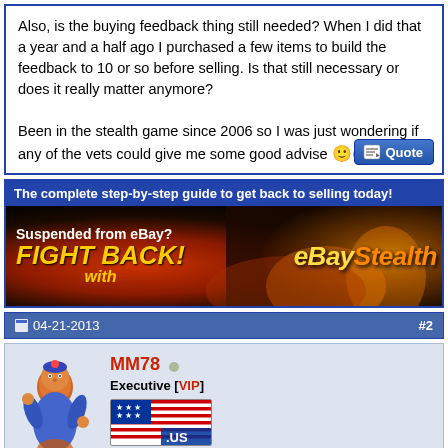Also, is the buying feedback thing still needed? When I did that a year and a half ago I purchased a few items to build the feedback to 10 or so before selling. Is that still necessary or does it really matter anymore?

Been in the stealth game since 2006 so I was just wondering if any of the vets could give me some good advise 🙂
[Figure (screenshot): Quote button - blue gradient button with pencil/paper icon and text 'Quote']
The complete step-by-step guide to get back to selling today!
[Figure (photo): eBayStealth advertisement banner: dark fiery background with text 'Suspended from eBay? FIGHT BACK! with eBayStealth']
04-21-2013
#2
[Figure (illustration): Forum avatar showing a cartoon blue genie character]
MM78
Executive [VIP]
[Figure (illustration): US flag banner image with .US text]
[Figure (illustration): Small document/notepad icon in post action bar]
No one can really tell you what would be good but the majority of